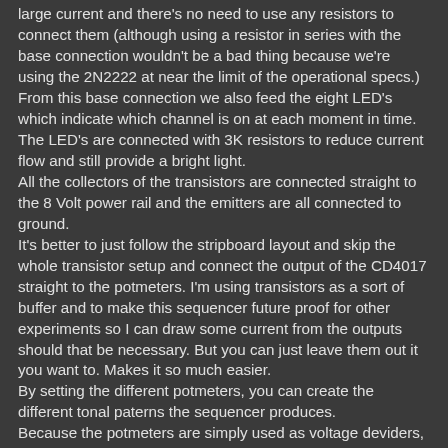large current and there's no need to use any resistors to connect them (although using a resistor in series with the base connection wouldn't be a bad thing because we're using the 2N2222 at near the limit of the operational specs.) From this base connection we also feed the eight LED's which indicate which channel is on at each moment in time. The LED's are connected with 3K resistors to reduce current flow and still provide a bright light.
All the collectors of the transistors are connected straight to the 8 Volt power rail and the emitters are all connected to ground.
It's better to just follow the stripboard layout and skip the whole transistor setup and connect the output of the CD4017 straight to the potmeters. I'm using transistors as a sort of buffer and to make this sequencer future proof for other experiments so I can draw some current from the outputs should that be necessary. But you can just leave them out it you want to. Makes it so much easier.
By setting the different potmeters, you can create the different tonal paterns the sequencer produces.
Because the potmeters are simply used as voltage deviders, it doesn't really matter which value they are as long as it's